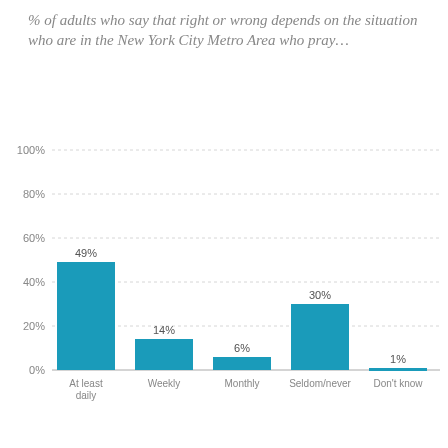% of adults who say that right or wrong depends on the situation who are in the New York City Metro Area who pray…
[Figure (bar-chart): % of adults who say that right or wrong depends on the situation who are in the New York City Metro Area who pray…]